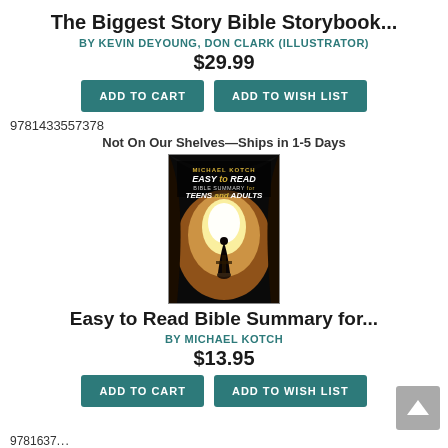The Biggest Story Bible Storybook...
BY KEVIN DEYOUNG, DON CLARK (ILLUSTRATOR)
$29.99
ADD TO CART   ADD TO WISH LIST
9781433557378
Not On Our Shelves—Ships in 1-5 Days
[Figure (photo): Book cover of 'Easy to Read Bible Summary for Teens and Adults' by Michael Kotch, showing a figure standing in a cave opening with a cross visible against a bright sky]
Easy to Read Bible Summary for...
BY MICHAEL KOTCH
$13.95
ADD TO CART   ADD TO WISH LIST
9781637...